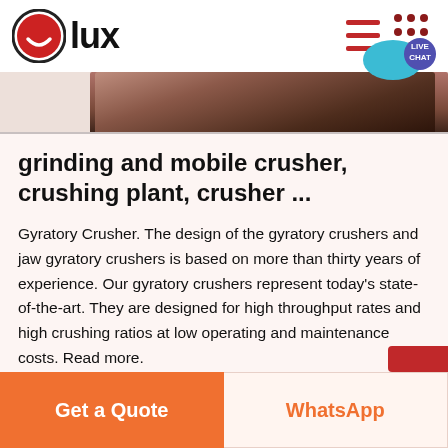[Figure (logo): Olux logo: red circle with white smile icon and bold text 'lux']
[Figure (photo): Partial photo of crushing/grinding machine equipment, dark tones]
grinding and mobile crusher, crushing plant, crusher ...
Gyratory Crusher. The design of the gyratory crushers and jaw gyratory crushers is based on more than thirty years of experience. Our gyratory crushers represent today's state-of-the-art. They are designed for high throughput rates and high crushing ratios at low operating and maintenance costs. Read more.
Get a Quote
WhatsApp